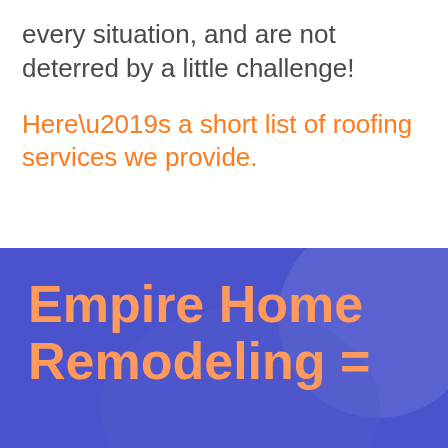every situation, and are not deterred by a little challenge!
Here’s a short list of roofing services we provide.
Empire Home Remodeling =